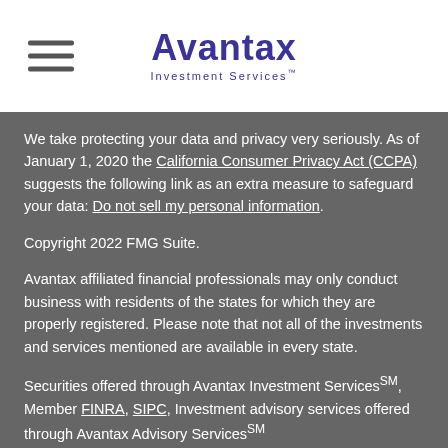[Figure (logo): Avantax Investment Services logo with hamburger menu icon on the left]
We take protecting your data and privacy very seriously. As of January 1, 2020 the California Consumer Privacy Act (CCPA) suggests the following link as an extra measure to safeguard your data: Do not sell my personal information.
Copyright 2022 FMG Suite.
Avantax affiliated financial professionals may only conduct business with residents of the states for which they are properly registered. Please note that not all of the investments and services mentioned are available in every state.
Securities offered through Avantax Investment Services℠, Member FINRA, SIPC, Investment advisory services offered through Avantax Advisory Services℠